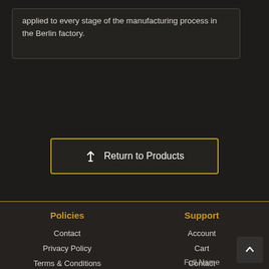applied to every stage of the manufacturing process in the Berlin factory.
Return to Products
Policies
Support
Contact
Privacy Policy
Terms & Conditions
Account
Cart
Contact
Full Name